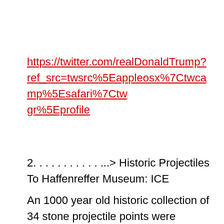https://twitter.com/realDonaldTrump?ref_src=twsrc%5Eappleosx%7Ctwcamp%5Esafari%7Ctwgr%5Eprofile
2. . . . . . . . . . . ...> Historic Projectiles To Haffenreffer Museum: ICE
An 1000 year old historic collection of 34 stone projectile points were returned to Rhode Island's Haffenreffer Museum of Anthropology more than 30 years after they